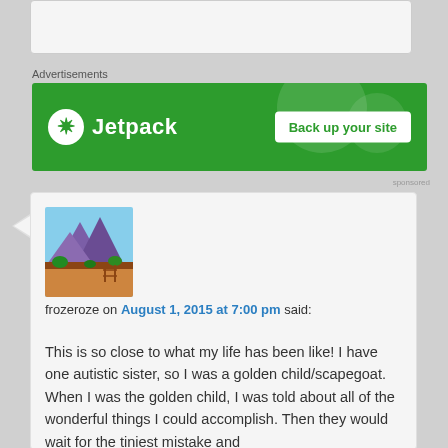[Figure (screenshot): Top stub area showing partial input/text box]
Advertisements
[Figure (screenshot): Jetpack advertisement banner with green background, Jetpack logo on left, and 'Back up your site' white button on right]
[Figure (photo): Avatar image of a painted mountain landscape with purple/blue mountains, trees, and red/orange ground with a fence]
frozeroze on August 1, 2015 at 7:00 pm said:
This is so close to what my life has been like! I have one autistic sister, so I was a golden child/scapegoat. When I was the golden child, I was told about all of the wonderful things I could accomplish. Then they would wait for the tiniest mistake and